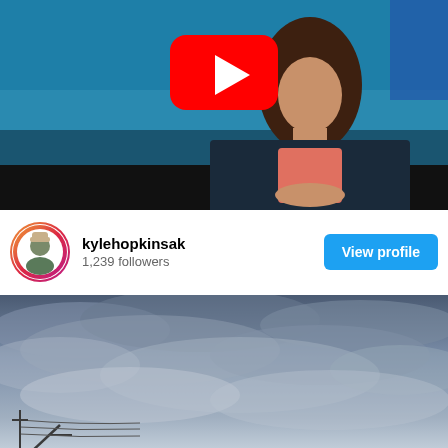[Figure (screenshot): YouTube video thumbnail showing a woman with curly hair in a dark blazer and salmon/pink top seated at a news desk with a blue background. A red YouTube play button is centered in the upper portion of the image.]
kylehopkinsak
1,239 followers
[Figure (photo): Instagram photo showing a dramatic cloudy sky with power lines and utility poles visible in the lower left corner. The sky is overcast with grey-blue clouds.]